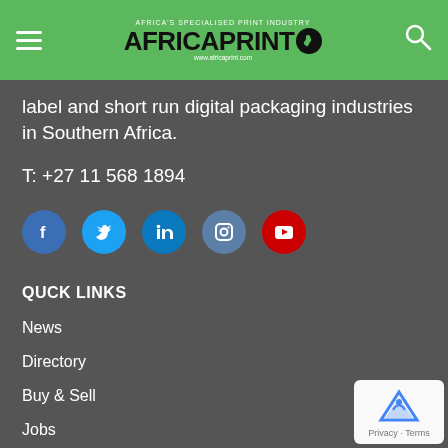Africa Print
label and short run digital packaging industries in Southern Africa.
T: +27 11 568 1894
[Figure (infographic): Social media icons: Facebook (blue), Twitter (blue), LinkedIn (blue), Instagram (grey-blue), YouTube (red)]
QUCK LINKS
News
Directory
Buy & Sell
Jobs